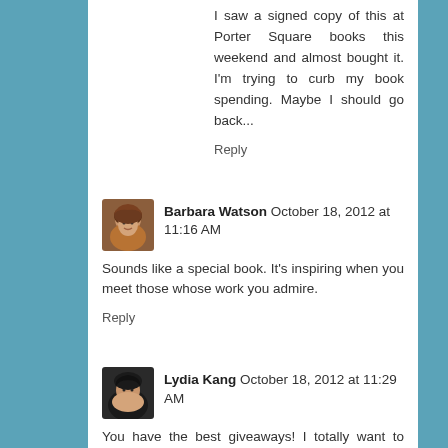I saw a signed copy of this at Porter Square books this weekend and almost bought it. I'm trying to curb my book spending. Maybe I should go back...
Reply
Barbara Watson October 18, 2012 at 11:16 AM
Sounds like a special book. It's inspiring when you meet those whose work you admire.
Reply
Lydia Kang October 18, 2012 at 11:29 AM
You have the best giveaways! I totally want to read this. :)
Reply